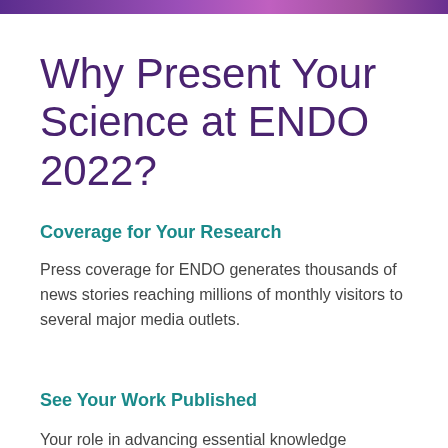Why Present Your Science at ENDO 2022?
Coverage for Your Research
Press coverage for ENDO generates thousands of news stories reaching millions of monthly visitors to several major media outlets.
See Your Work Published
Your role in advancing essential knowledge